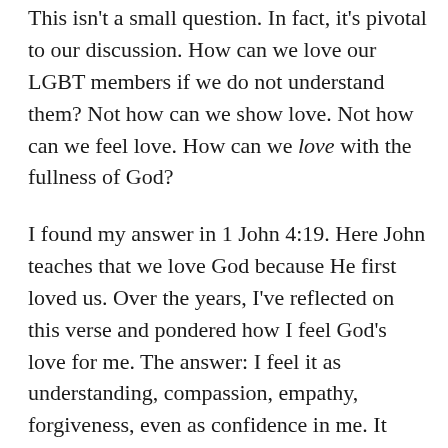This isn't a small question. In fact, it's pivotal to our discussion. How can we love our LGBT members if we do not understand them? Not how can we show love. Not how can we feel love. How can we love with the fullness of God?
I found my answer in 1 John 4:19. Here John teaches that we love God because He first loved us. Over the years, I've reflected on this verse and pondered how I feel God's love for me. The answer: I feel it as understanding, compassion, empathy, forgiveness, even as confidence in me. It strikes me how intimately Heavenly Father knows me—what motivates me, what experiences have made me who I am, what my fears, hopes, and desires are, etc. In other words, He loves me